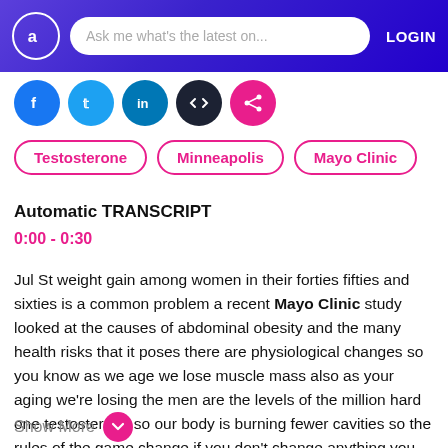Ask me what's the latest on...  LOGIN
[Figure (illustration): Social media share buttons: Facebook, Twitter, LinkedIn, GitHub/code, Share (pink)]
Testosterone
Minneapolis
Mayo Clinic
Automatic TRANSCRIPT
0:00 - 0:30
Jul St weight gain among women in their forties fifties and sixties is a common problem a recent Mayo Clinic study looked at the causes of abdominal obesity and the many health risks that it poses there are physiological changes so you know as we age we lose muscle mass also as your aging we're losing the men are the levels of the million hard one testosterone so our body is burning fewer cavities so the rules of the game change if you don't change anything you will gain weight because you have to take that extra step to be
Show More